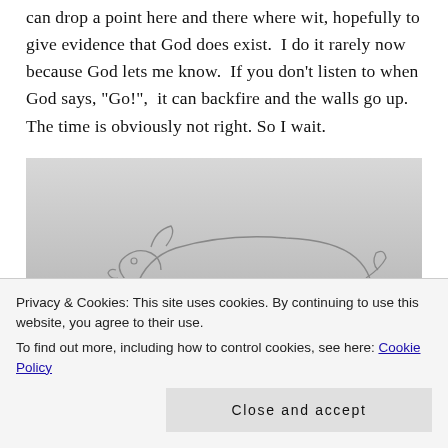can drop a point here and there where wit, hopefully to give evidence that God does exist.  I do it rarely now because God lets me know.  If you don't listen to when God says, "Go!",  it can backfire and the walls go up. The time is obviously not right. So I wait.
[Figure (illustration): A pencil sketch drawing of a pig in profile view on a light gray background, showing outline of body, legs, curly tail, and snout]
Privacy & Cookies: This site uses cookies. By continuing to use this website, you agree to their use.
To find out more, including how to control cookies, see here: Cookie Policy
Close and accept